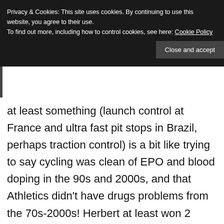Privacy & Cookies: This site uses cookies. By continuing to use this website, you agree to their use.
To find out more, including how to control cookies, see here: Cookie Policy
Close and accept
at least something (launch control at France and ultra fast pit stops in Brazil, perhaps traction control) is a bit like trying to say cycling was clean of EPO and blood doping in the 90s and 2000s, and that Athletics didn't have drugs problems from the 70s-2000s! Herbert at least won 2 races in 1995 when MSc and Hill collided, so I guess that's a fairer